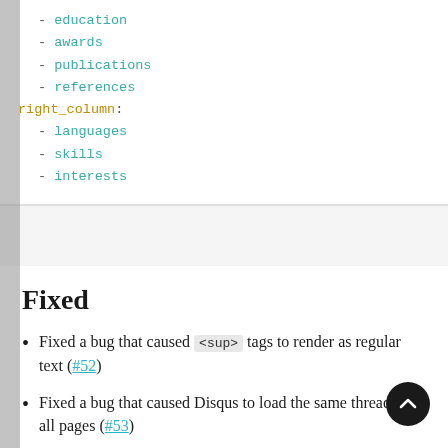- education
- awards
- publications
- references
right_column:
- languages
- skills
- interests
Fixed
Fixed a bug that caused <sup> tags to render as regular text (#52)
Fixed a bug that caused Disqus to load the same thread on all pages (#53)
Fixed a bug that prevented Disqus comments to